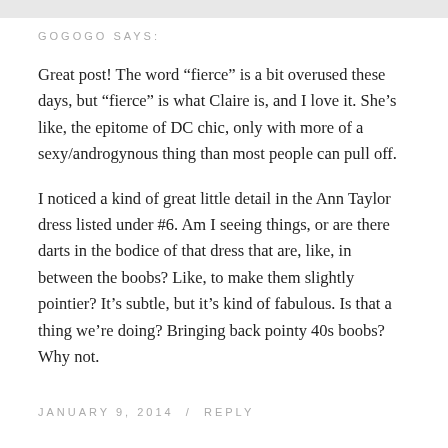GOGOGO SAYS:
Great post! The word “fierce” is a bit overused these days, but “fierce” is what Claire is, and I love it. She’s like, the epitome of DC chic, only with more of a sexy/androgynous thing than most people can pull off.
I noticed a kind of great little detail in the Ann Taylor dress listed under #6. Am I seeing things, or are there darts in the bodice of that dress that are, like, in between the boobs? Like, to make them slightly pointier? It’s subtle, but it’s kind of fabulous. Is that a thing we’re doing? Bringing back pointy 40s boobs? Why not.
JANUARY 9, 2014  /  REPLY